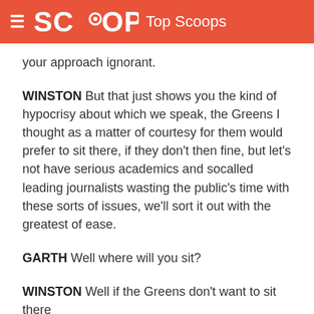SCOOP Top Scoops
your approach ignorant.
WINSTON But that just shows you the kind of hypocrisy about which we speak, the Greens I thought as a matter of courtesy for them would prefer to sit there, if they don't then fine, but let's not have serious academics and socalled leading journalists wasting the public's time with these sorts of issues, we'll sort it out with the greatest of ease.
GARTH Well where will you sit?
WINSTON Well if the Greens don't want to sit there the